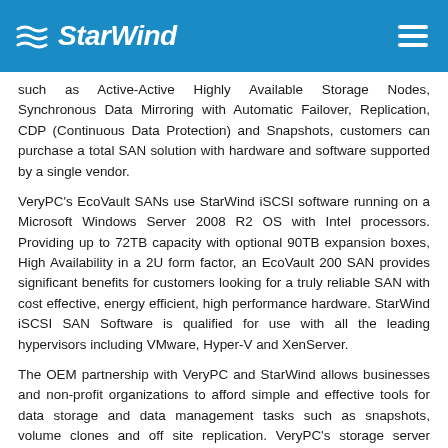StarWind
such as Active-Active Highly Available Storage Nodes, Synchronous Data Mirroring with Automatic Failover, Replication, CDP (Continuous Data Protection) and Snapshots, customers can purchase a total SAN solution with hardware and software supported by a single vendor.
VeryPC's EcoVault SANs use StarWind iSCSI software running on a Microsoft Windows Server 2008 R2 OS with Intel processors. Providing up to 72TB capacity with optional 90TB expansion boxes, High Availability in a 2U form factor, an EcoVault 200 SAN provides significant benefits for customers looking for a truly reliable SAN with cost effective, energy efficient, high performance hardware. StarWind iSCSI SAN Software is qualified for use with all the leading hypervisors including VMware, Hyper-V and XenServer.
The OEM partnership with VeryPC and StarWind allows businesses and non-profit organizations to afford simple and effective tools for data storage and data management tasks such as snapshots, volume clones and off site replication. VeryPC's storage server hardware provides an easy to use and implement